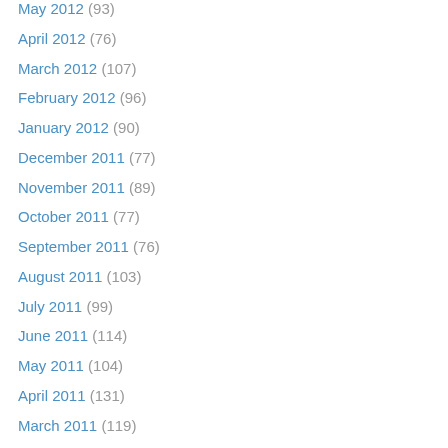May 2012 (93)
April 2012 (76)
March 2012 (107)
February 2012 (96)
January 2012 (90)
December 2011 (77)
November 2011 (89)
October 2011 (77)
September 2011 (76)
August 2011 (103)
July 2011 (99)
June 2011 (114)
May 2011 (104)
April 2011 (131)
March 2011 (119)
February 2011 (93)
January 2011 (110)
December 2010 (96)
November 2010 (85)
October 2010 (…)